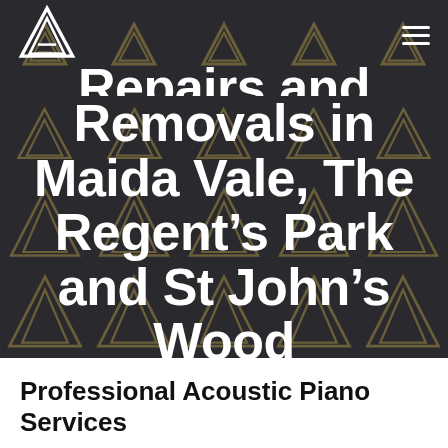[Figure (logo): White mountain/triangle logo (AA-style) in top left of dark hero navigation bar]
Repairs and Removals in Maida Vale, The Regent's Park and St John's Wood
Professional Acoustic Piano Services